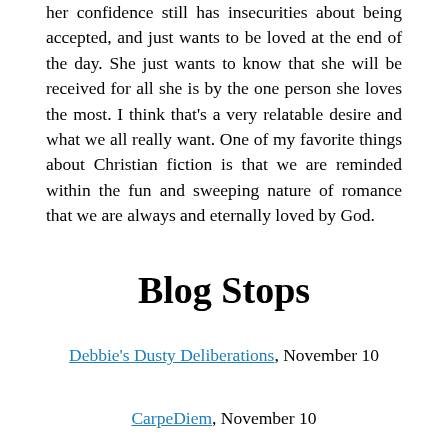her confidence still has insecurities about being accepted, and just wants to be loved at the end of the day. She just wants to know that she will be received for all she is by the one person she loves the most. I think that's a very relatable desire and what we all really want. One of my favorite things about Christian fiction is that we are reminded within the fun and sweeping nature of romance that we are always and eternally loved by God.
Blog Stops
Debbie's Dusty Deliberations, November 10
CarpeDiem, November 10